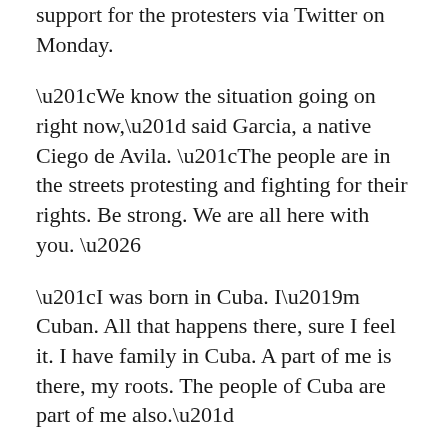support for the protesters via Twitter on Monday.
“We know the situation going on right now,” said Garcia, a native Ciego de Avila. “The people are in the streets protesting and fighting for their rights. Be strong. We are all here with you. …
“I was born in Cuba. I’m Cuban. All that happens there, sure I feel it. I have family in Cuba. A part of me is there, my roots. The people of Cuba are part of me also.”
Garcia and Chapman are just two Cuban major leaguers who have spoken out in support of the protesters back home.
Chapman wanted to capitalize on the Midsummer Classic’s stage to bring awareness to the protesters back home in Cuba.
He wore a “Patria y Vida” T-shirt onto the field ...